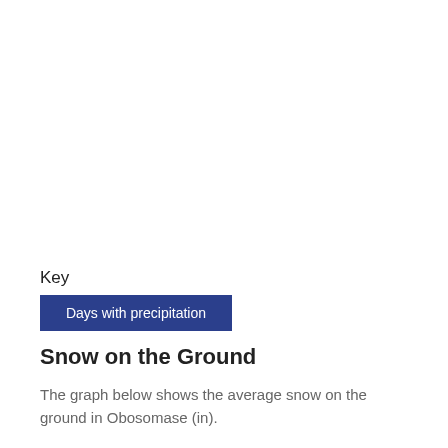Key
[Figure (infographic): Legend box with blue background showing 'Days with precipitation']
Snow on the Ground
The graph below shows the average snow on the ground in Obosomase (in).